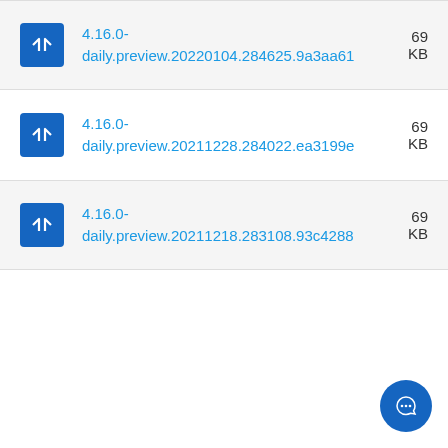4.16.0-daily.preview.20220104.284625.9a3aa61  69 KB
4.16.0-daily.preview.20211228.284022.ea3199e  69 KB
4.16.0-daily.preview.20211218.283108.93c4288  69 KB